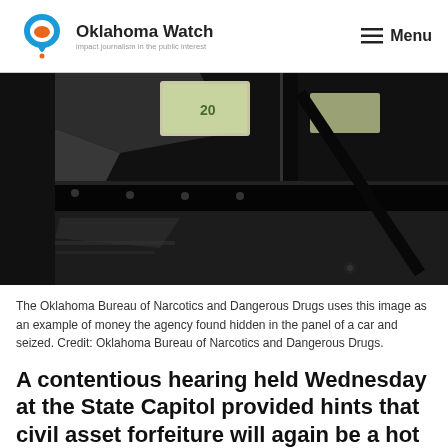Oklahoma Watch — Impact journalism in the public interest | Menu
[Figure (photo): Interior of a car panel showing money hidden inside, used by Oklahoma Bureau of Narcotics and Dangerous Drugs as an example of seized currency]
The Oklahoma Bureau of Narcotics and Dangerous Drugs uses this image as an example of money the agency found hidden in the panel of a car and seized. Credit: Oklahoma Bureau of Narcotics and Dangerous Drugs.
A contentious hearing held Wednesday at the State Capitol provided hints that civil asset forfeiture will again be a hot topic during next